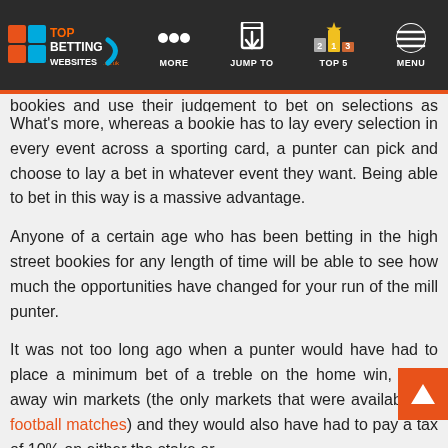Top Betting Websites | MORE | JUMP TO | TOP 5 | MENU
What’s more, whereas a bookie has to lay every selection in every event across a sporting card, a punter can pick and choose to lay a bet in whatever event they want. Being able to bet in this way is a massive advantage.
Anyone of a certain age who has been betting in the high street bookies for any length of time will be able to see how much the opportunities have changed for your run of the mill punter.
It was not too long ago when a punter would have had to place a minimum bet of a treble on the home win, draw, away win markets (the only markets that were available on football matches) and they would also have had to pay a tax of 10% on either the stake or